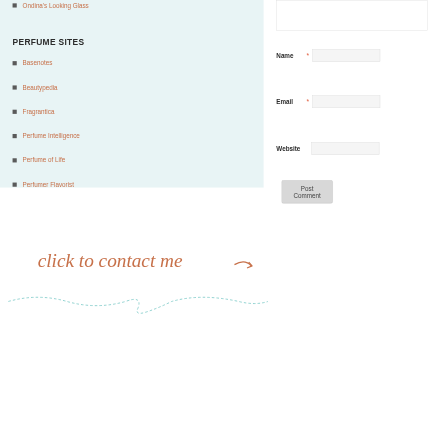Ondina's Looking Glass
PERFUME SITES
Basenotes
Beautypedia
Fragrantica
Perfume Intelligence
Perfume of Life
Perfumer Flavorist
[Figure (illustration): Handwritten script text 'click to contact me' with a curved arrow, in orange/coral color]
[Figure (illustration): Dashed teal/light-blue curved line forming a loop or knot shape as a decorative divider]